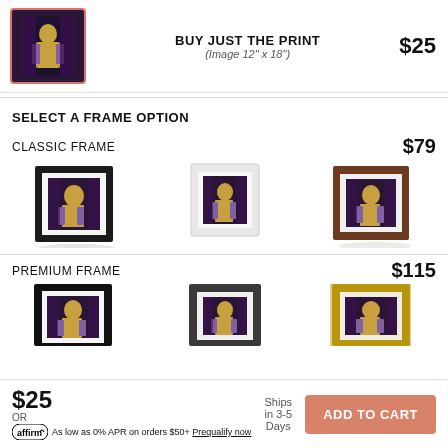[Figure (photo): Thumbnail of artwork showing a figure in golden dress, framed with red/coral border]
BUY JUST THE PRINT
(Image 12" x 18")
$25
SELECT A FRAME OPTION
CLASSIC FRAME   $79
[Figure (photo): Three classic frame options: black frame, white frame, brown/walnut frame, each containing the artwork]
PREMIUM FRAME   $115
[Figure (photo): Three premium frame options: dark frame, dark grey frame, gold/tan frame, each containing the artwork]
$25
Ships in 3-5 Days
ADD TO CART
OR
affirm As low as 0% APR on orders $50+ Prequalify now